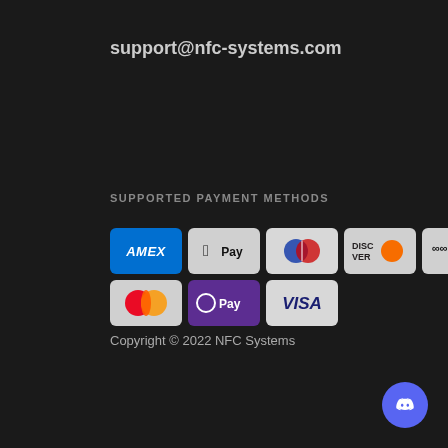support@nfc-systems.com
SUPPORTED PAYMENT METHODS
[Figure (logo): Payment method logos: American Express (Amex), Apple Pay, Diners Club, Discover, Meta Pay, Google Pay, Mastercard, OPay, Visa]
Copyright © 2022 NFC Systems